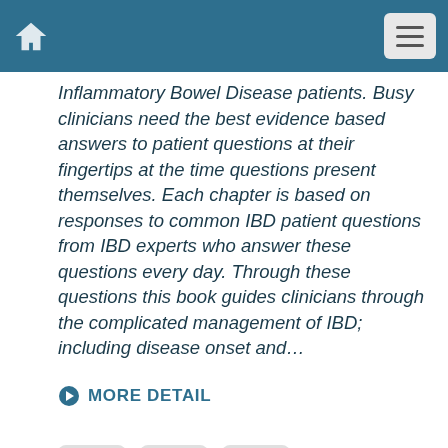Inflammatory Bowel Disease patients. Busy clinicians need the best evidence based answers to patient questions at their fingertips at the time questions present themselves. Each chapter is based on responses to common IBD patient questions from IBD experts who answer these questions every day. Through these questions this book guides clinicians through the complicated management of IBD; including disease onset and...
MORE DETAIL